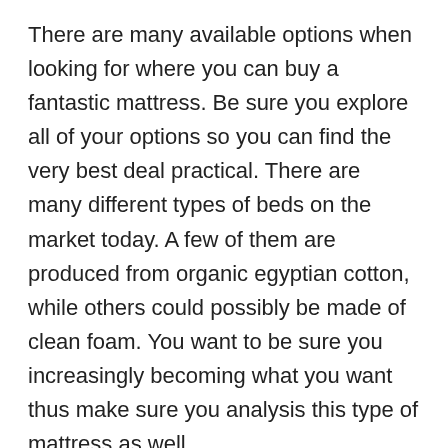There are many available options when looking for where you can buy a fantastic mattress. Be sure you explore all of your options so you can find the very best deal practical. There are many different types of beds on the market today. A few of them are produced from organic egyptian cotton, while others could possibly be made of clean foam. You want to be sure you increasingly becoming what you want thus make sure you analysis this type of mattress as well.
Shopping online for any good bed is a great approach to find where to buy the best mattress. You may also find deals and free shipping. Make sure you compare prices...